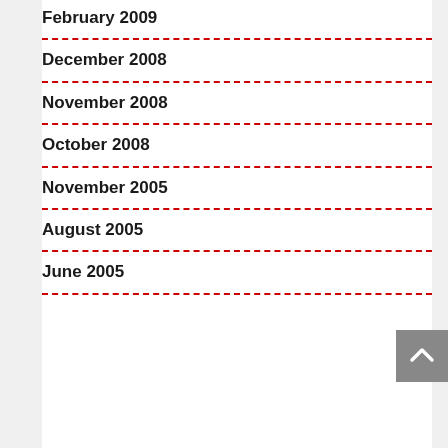February 2009
December 2008
November 2008
October 2008
November 2005
August 2005
June 2005